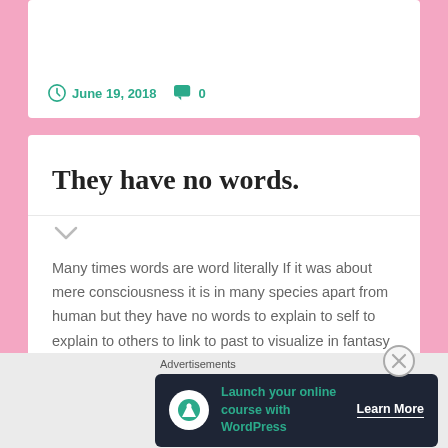June 19, 2018   0
They have no words.
Many times words are word literally If it was about mere consciousness it is in many species apart from human but they have no words to explain to self to explain to others to link to past to visualize in fantasy It cause the differentials which is not merely
[Figure (infographic): Advertisement banner: Launch your online course with WordPress — Learn More]
Advertisements